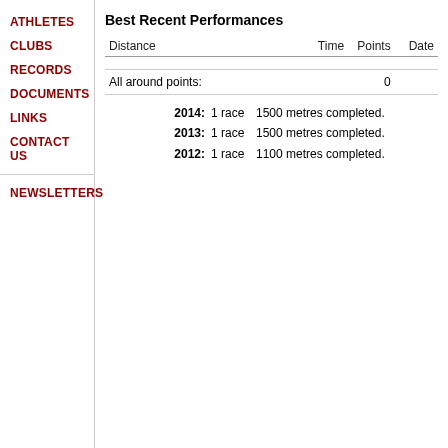ATHLETES
CLUBS
RECORDS
DOCUMENTS
LINKS
CONTACT US
NEWSLETTERS
Best Recent Performances
| Distance | Time | Points | Date |
| --- | --- | --- | --- |
| All around points: |  | 0 |  |
2014:  1 race   1500 metres completed.
2013:  1 race   1500 metres completed.
2012:  1 race   1100 metres completed.